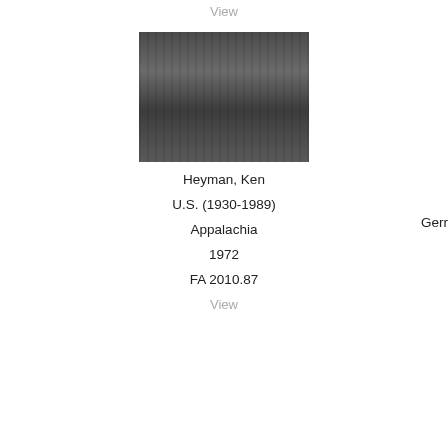View
[Figure (photo): Black and white photograph showing a group of people, including adults and children, gathered on the porch steps of a wooden building. The scene depicts Appalachian life.]
Heyman, Ken
U.S. (1930-1989)
Appalachia
1972
FA 2010.87
View
Gerr